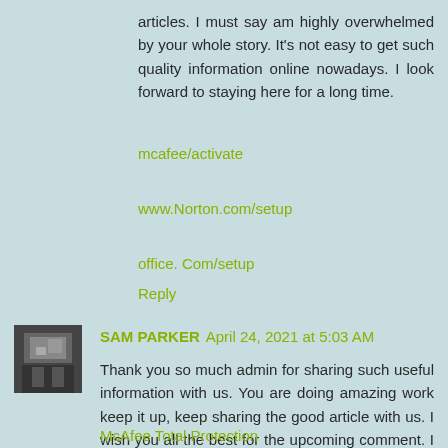articles. I must say am highly overwhelmed by your whole story. It's not easy to get such quality information online nowadays. I look forward to staying here for a long time.
mcafee/activate
www.Norton.com/setup
office. Com/setup
Reply
SAM PARKER April 24, 2021 at 5:03 AM
Thank you so much admin for sharing such useful information with us. You are doing amazing work keep it up, keep sharing the good article with us. I wish you all the best for the upcoming comment. I have also a few links which might be useful for user I am sharing those links here.
McAfee Total Protection